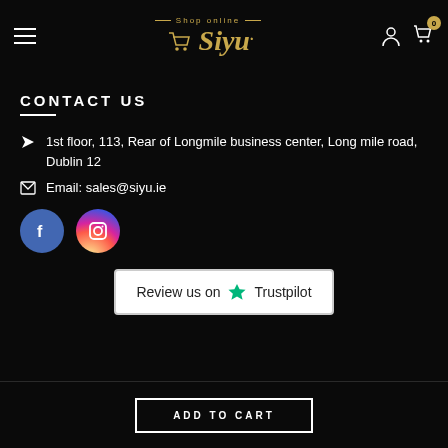Siyu - Shop online
CONTACT US
1st floor, 113, Rear of Longmile business center, Long mile road, Dublin 12
Email: sales@siyu.ie
[Figure (logo): Facebook and Instagram social media icons (circles with f and camera icons)]
[Figure (logo): Review us on Trustpilot button with green star logo]
ADD TO CART